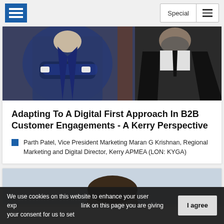Special
[Figure (photo): Two men in business suits, one on left with arms crossed in navy suit, one on right in black suit with dark tie, professional headshots cropped at torso]
Adapting To A Digital First Approach In B2B Customer Engagements - A Kerry Perspective
Parth Patel, Vice President Marketing Maran G Krishnan, Regional Marketing and Digital Director, Kerry APMEA (LON: KYGA)
[Figure (photo): Top of a person's head visible, cropped image showing hair against light blue-grey background]
We use cookies on this website to enhance your user experience. By clicking any link on this page you are giving your consent for us to set